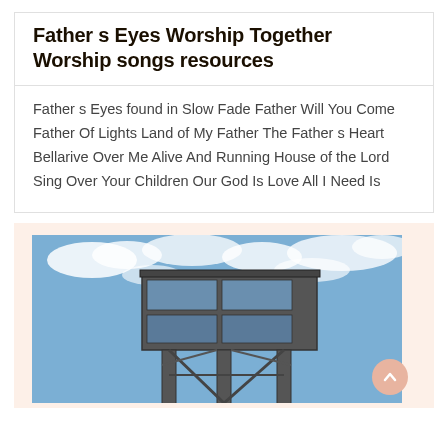Father s Eyes Worship Together Worship songs resources
Father s Eyes found in Slow Fade Father Will You Come Father Of Lights Land of My Father The Father s Heart Bellarive Over Me Alive And Running House of the Lord Sing Over Your Children Our God Is Love All I Need Is
[Figure (photo): Low-angle photograph of an industrial or architectural steel tower/structure with a large rectangular top section, steel support beams and columns, photographed against a partly cloudy blue sky.]